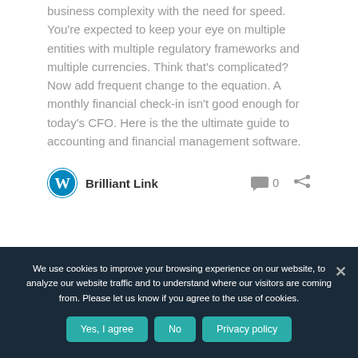business complexity with the need for speed. You're expected to keep your eye on multiple entities with multiple regulatory frameworks and multiple currencies. Think that's complicated? Now add frequent change to the equation. A monthly financial check-in isn't good enough for today's CFO. Here is the the ultimate guide to accounting and financial management software.
Brilliant Link  0
We use cookies to improve your browsing experience on our website, to analyze our website traffic and to understand where our visitors are coming from. Please let us know if you agree to the use of cookies.